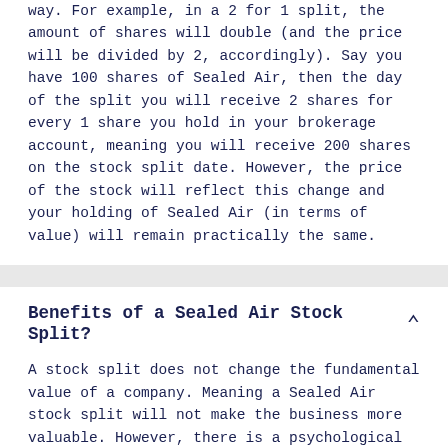way. For example, in a 2 for 1 split, the amount of shares will double (and the price will be divided by 2, accordingly). Say you have 100 shares of Sealed Air, then the day of the split you will receive 2 shares for every 1 share you hold in your brokerage account, meaning you will receive 200 shares on the stock split date. However, the price of the stock will reflect this change and your holding of Sealed Air (in terms of value) will remain practically the same.
Benefits of a Sealed Air Stock Split?
A stock split does not change the fundamental value of a company. Meaning a Sealed Air stock split will not make the business more valuable. However, there is a psychological benefit in that the share price will be lower after the split, making shares seem more accessible to everyone and thus temporarily increasing demand and ramping up share prices. To further explore stock